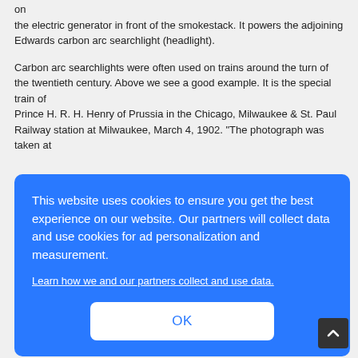on the electric generator in front of the smokestack. It powers the adjoining Edwards carbon arc searchlight (headlight).
Carbon arc searchlights were often used on trains around the turn of the twentieth century. Above we see a good example. It is the special train of Prince H. R. H. Henry of Prussia in the Chicago, Milwaukee & St. Paul Railway station at Milwaukee, March 4, 1902. "The photograph was taken at
[Figure (screenshot): Cookie consent overlay dialog on a blue background. Text reads: 'This website uses cookies to ensure you get the best experience on our website. Our partners will collect data and use cookies for ad personalization and measurement.' with a link 'Learn how we and our partners collect and use data.' and an OK button. Partially visible text behind overlay mentions 'dition', 'sions,', and 'nd'. A back-to-top arrow button appears at bottom right.]